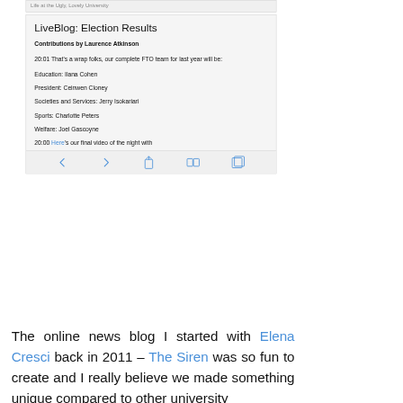Life at the Ugly, Lovely University
LiveBlog: Election Results
Contributions by Laurence Atkinson
20:01 That's a wrap folks, our complete FTO team for last year will be:
Education: Ilana Cohen
President: Ceinwen Cloney
Societies and Services: Jerry Isokariari
Sports: Charlotte Peters
Welfare: Joel Gascoyne
20:00 Here's our final video of the night with
The online news blog I started with Elena Cresci back in 2011 – The Siren was so fun to create and I really believe we made something unique compared to other university